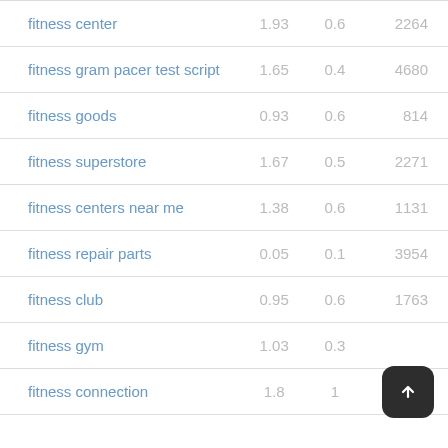| keyword | col1 | col2 | col3 |
| --- | --- | --- | --- |
| fitness center | 1.93 | 0.6 | 2264 |
| fitness gram pacer test script | 1.65 | 0.4 | 4680 |
| fitness goods | 0.93 | 0.6 | 814 |
| fitness superstore | 1.67 | 0.5 | 2271 |
| fitness centers near me | 1.38 | 0.6 | 1131 |
| fitness repair parts | 0.05 | 0.1 | 3954 |
| fitness club | 0.95 | 0.6 | 1763 |
| fitness gym | 1.03 | 0.3 |  |
| fitness connection | 1.8 | 1 | 6149 |